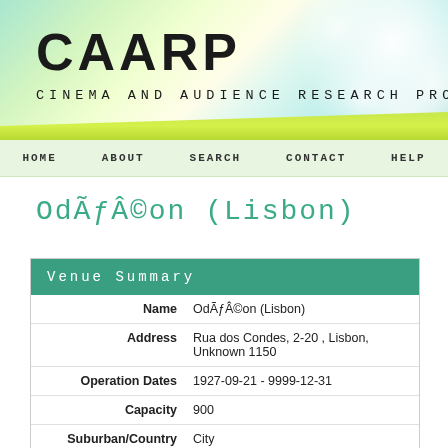[Figure (screenshot): CAARP website header banner with green/teal bokeh background, title 'CAARP' and subtitle 'CINEMA AND AUDIENCE RESEARCH PROJECT']
HOME   ABOUT   SEARCH   CONTACT   HELP
OdÃƒÂ©on (Lisbon)
| Field | Value |
| --- | --- |
| Name | OdÃƒÂ©on (Lisbon) |
| Address | Rua dos Condes, 2-20 , Lisbon, Unknown 1150 |
| Operation Dates | 1927-09-21 - 9999-12-31 |
| Capacity | 900 |
| Suburban/Country | City |
| Purpose | Unknown |